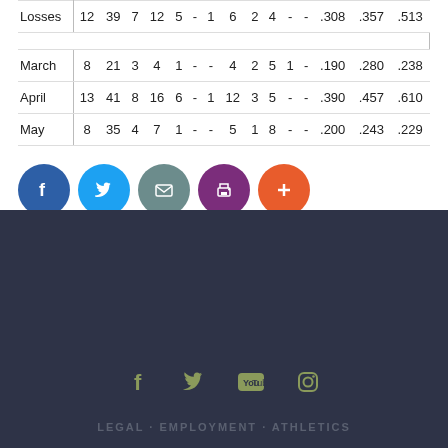| Losses | 12 | 39 | 7 | 12 | 5 | - | 1 | 6 | 2 | 4 | - | - | .308 | .357 | .513 |
| March | 8 | 21 | 3 | 4 | 1 | - | - | 4 | 2 | 5 | 1 | - | .190 | .280 | .238 |
| April | 13 | 41 | 8 | 16 | 6 | - | 1 | 12 | 3 | 5 | - | - | .390 | .457 | .610 |
| May | 8 | 35 | 4 | 7 | 1 | - | - | 5 | 1 | 8 | - | - | .200 | .243 | .229 |
[Figure (infographic): Social sharing buttons: Facebook (blue), Twitter (light blue), Email (grey-teal), Print (purple), Add/Plus (orange-red)]
[Figure (infographic): Dark footer area with social media icons (Facebook, Twitter, YouTube, Instagram) in olive/green color, and legal navigation text at the bottom.]